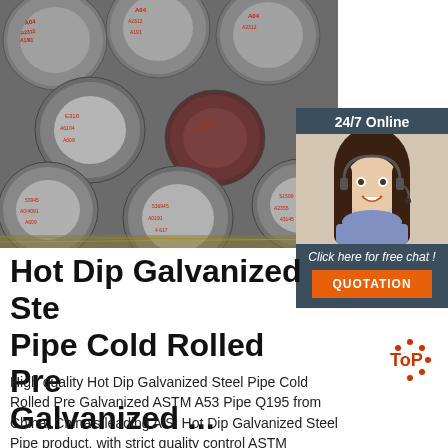[Figure (photo): Stacked steel round bars/rods with red Chinese markings on the ends, viewed from the end]
[Figure (photo): Customer service agent woman with headset smiling, with 24/7 Online chat widget overlay]
Hot Dip Galvanized Steel Pipe Cold Rolled Pre Galvanized ...
High quality Hot Dip Galvanized Steel Pipe Cold Rolled Pre Galvanized ASTM A53 Pipe Q195 from China, China's leading AiSi Hot Dip Galvanized Steel Pipe product, with strict quality control ASTM